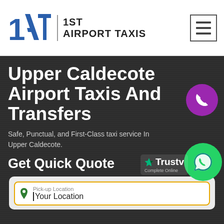[Figure (logo): 1st Airport Taxis logo with stylized '1AT' text in blue and company name]
Upper Caldecote Airport Taxis And Transfers
Safe, Punctual, and First-Class taxi service In Upper Caldecote.
Get Quick Quote
[Figure (other): Purple circular phone call button icon]
[Figure (other): Green WhatsApp button icon with chat bubble and phone]
[Figure (other): Trustpilot badge - Complete Online overlay]
Pick-up Location
Your Location